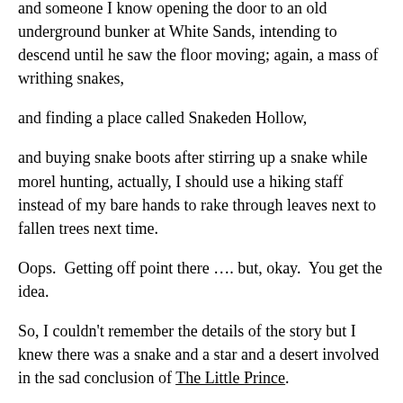and someone I know opening the door to an old underground bunker at White Sands, intending to descend until he saw the floor moving; again, a mass of writhing snakes,
and finding a place called Snakeden Hollow,
and buying snake boots after stirring up a snake while morel hunting, actually, I should use a hiking staff instead of my bare hands to rake through leaves next to fallen trees next time.
Oops.  Getting off point there …. but, okay.  You get the idea.
So, I couldn't remember the details of the story but I knew there was a snake and a star and a desert involved in the sad conclusion of The Little Prince.